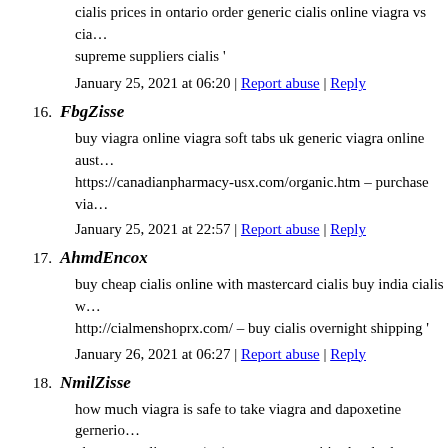cialis prices in ontario order generic cialis online viagra vs cia… supreme suppliers cialis '
January 25, 2021 at 06:20 | Report abuse | Reply
16. FbgZisse
buy viagra online viagra soft tabs uk generic viagra online aust… https://canadianpharmacy-usx.com/organic.htm – purchase via…
January 25, 2021 at 22:57 | Report abuse | Reply
17. AhmdEncox
buy cheap cialis online with mastercard cialis buy india cialis w… http://cialmenshoprx.com/ – buy cialis overnight shipping '
January 26, 2021 at 06:27 | Report abuse | Reply
18. NmilZisse
how much viagra is safe to take viagra and dapoxetine gernerio… pharmacyonline.com/en/career-opportunities.html – buy viagra…
January 26, 2021 at 09:05 | Report abuse | Reply
19. JnhCrulk
where do you inject liquid cialis cialis south africa buy cialis o… http://loncialis.com/ – dapoxetine with cialis '